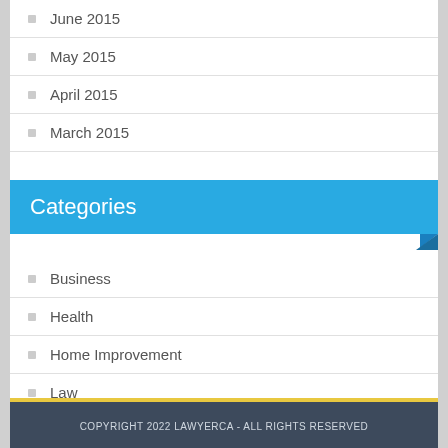June 2015
May 2015
April 2015
March 2015
Categories
Business
Health
Home Improvement
Law
Real Estate
COPYRIGHT 2022 LAWYERCA - ALL RIGHTS RESERVED